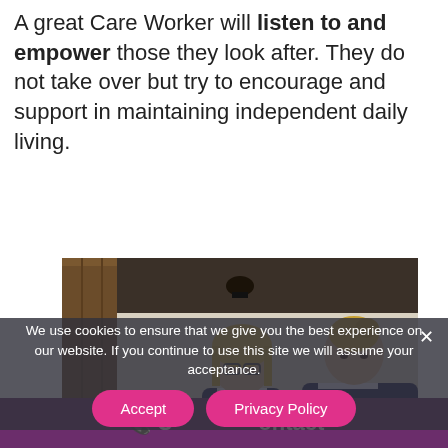A great Care Worker will listen to and empower those they look after. They do not take over but try to encourage and support in maintaining independent daily living.
[Figure (photo): Two female care workers in dark navy uniforms attending to a patient lying in a bed. The care workers appear to be assisting with clothing or bedding.]
We use cookies to ensure that we give you the best experience on our website. If you continue to use this site we will assume your acceptance.
Contact